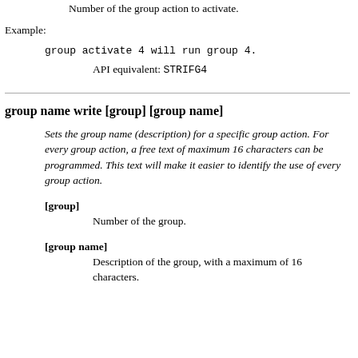Number of the group action to activate.
Example:
group activate 4 will run group 4.
API equivalent: STRIFG4
group name write [group] [group name]
Sets the group name (description) for a specific group action. For every group action, a free text of maximum 16 characters can be programmed. This text will make it easier to identify the use of every group action.
[group]
Number of the group.
[group name]
Description of the group, with a maximum of 16 characters.